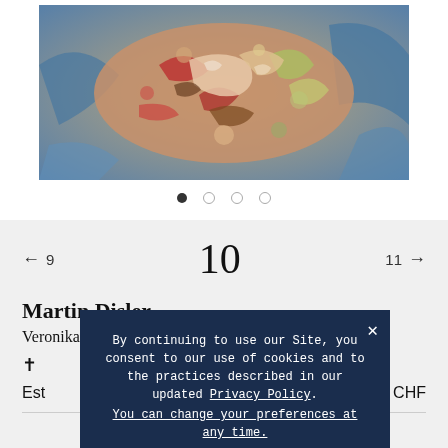[Figure (photo): Abstract expressionist painting — colorful impasto work with blues, reds, yellows and earth tones, showing textured brushwork suggesting figures or forms. Titled 'Veronika zermartertes Gesicht' by Martin Disler, 1980.]
● ○ ○ ○
← 9    10    11 →
Martin Disler
Veronika zermartertes Gesicht, 1980
† ...
Est ...CHF
By continuing to use our Site, you consent to our use of cookies and to the practices described in our updated Privacy Policy. You can change your preferences at any time.